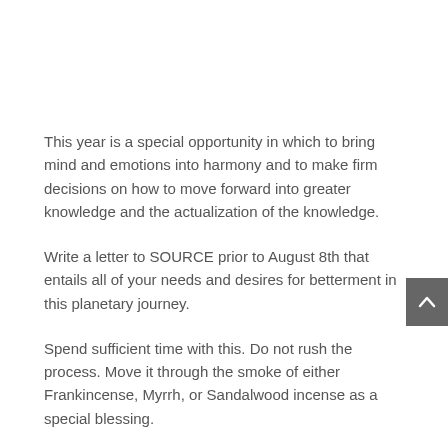This year is a special opportunity in which to bring mind and emotions into harmony and to make firm decisions on how to move forward into greater knowledge and the actualization of the knowledge.
Write a letter to SOURCE prior to August 8th that entails all of your needs and desires for betterment in this planetary journey.
Spend sufficient time with this. Do not rush the process. Move it through the smoke of either Frankincense, Myrrh, or Sandalwood incense as a special blessing.
Then symbolically “mail” it in your preferred holy